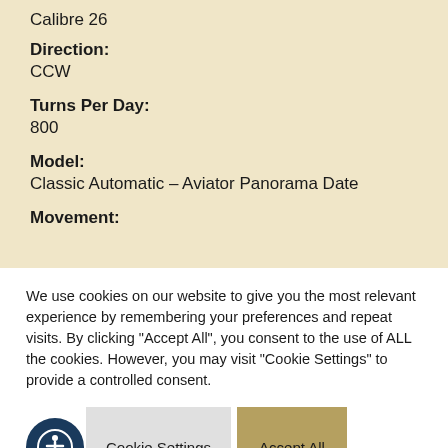Calibre 26
Direction:
CCW
Turns Per Day:
800
Model:
Classic Automatic – Aviator Panorama Date
Movement:
We use cookies on our website to give you the most relevant experience by remembering your preferences and repeat visits. By clicking "Accept All", you consent to the use of ALL the cookies. However, you may visit "Cookie Settings" to provide a controlled consent.
Cookie Settings
Accept All